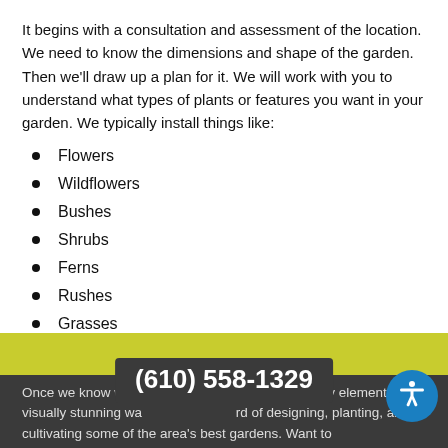It begins with a consultation and assessment of the location. We need to know the dimensions and shape of the garden. Then we'll draw up a plan for it. We will work with you to understand what types of plants or features you want in your garden. We typically install things like:
Flowers
Wildflowers
Bushes
Shrubs
Ferns
Rushes
Grasses
Once we know what you want, we will arrange every element in a visually stunning way. We have a long record of designing, planting, and cultivating some of the area's best gardens. Want to